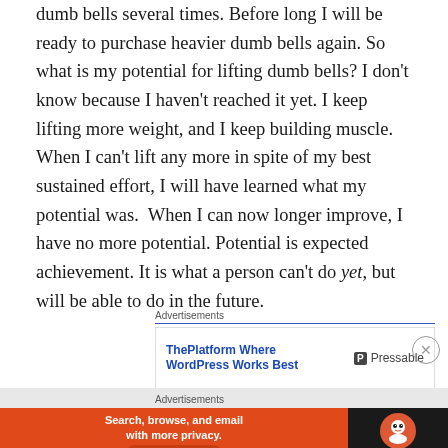dumb bells several times. Before long I will be ready to purchase heavier dumb bells again. So what is my potential for lifting dumb bells? I don't know because I haven't reached it yet. I keep lifting more weight, and I keep building muscle. When I can't lift any more in spite of my best sustained effort, I will have learned what my potential was. When I can now longer improve, I have no more potential. Potential is expected achievement. It is what a person can't do yet, but will be able to do in the future.
Advertisements
[Figure (screenshot): Advertisement for ThePlatform Where WordPress Works Best by Pressable]
Advertisements
[Figure (screenshot): Advertisement for DuckDuckGo: Search, browse, and email with more privacy. All in One Free App.]